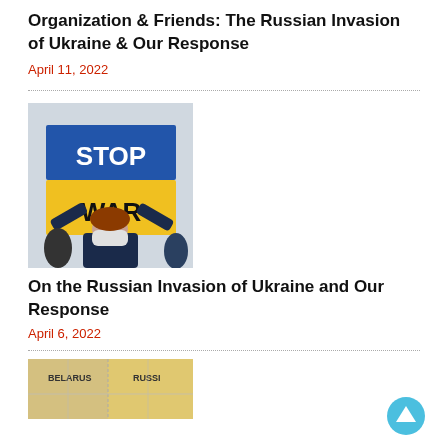Organization & Friends: The Russian Invasion of Ukraine & Our Response
April 11, 2022
[Figure (photo): A person holding a sign with Ukrainian flag colors reading STOP WAR, wearing a face mask]
On the Russian Invasion of Ukraine and Our Response
April 6, 2022
[Figure (map): Partial map showing Belarus and Russia regions, cropped at bottom of page]